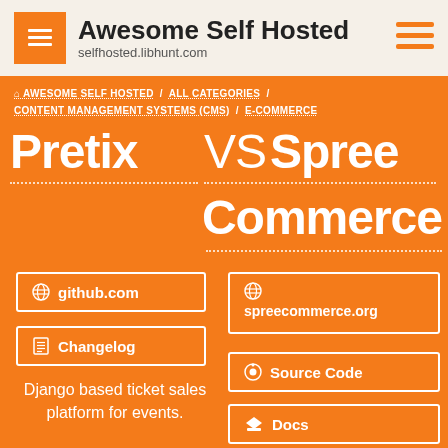Awesome Self Hosted selfhosted.libhunt.com
AWESOME SELF HOSTED / ALL CATEGORIES / CONTENT MANAGEMENT SYSTEMS (CMS) / E-COMMERCE
Pretix VS Spree Commerce
github.com
Changelog
spreecommerce.org
Source Code
Docs
Django based ticket sales platform for events.